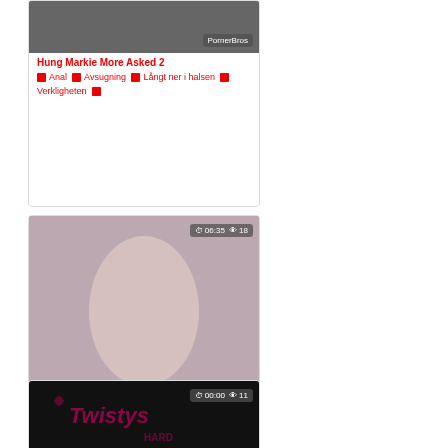[Figure (photo): Video thumbnail with PornerBros watermark - card 1 (top, partial)]
Hung Markie More Asked 2 ✦ Anal ✦ Avsugning ✦ Långt ner i halsen ✦ Verkligheten ✦
[Figure (photo): Video thumbnail with duration 06:35 and 18 views, PornerBros watermark]
Yanks Lulu Reynolds Finger ✦ Amatör ✦ Cum ✦ Onani ✦ Gamla ✦ Orgasm ✦ Trosor ✦
[Figure (photo): Video thumbnail showing Twistys Hard logo, duration 00:00, 11 views]